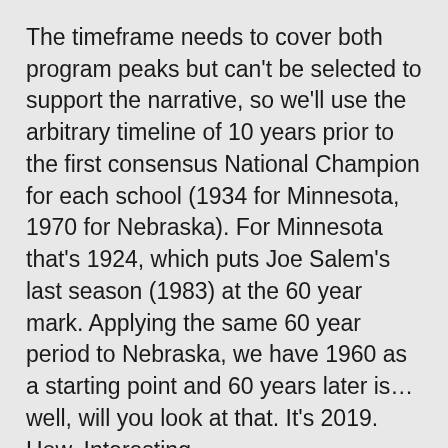The timeframe needs to cover both program peaks but can't be selected to support the narrative, so we'll use the arbitrary timeline of 10 years prior to the first consensus National Champion for each school (1934 for Minnesota, 1970 for Nebraska). For Minnesota that's 1924, which puts Joe Salem's last season (1983) at the 60 year mark. Applying the same 60 year period to Nebraska, we have 1960 as a starting point and 60 years later is…well, will you look at that. It's 2019. How. Interesting.
Classifying 1924/1960 as Year 1, we can now compare the peak periods. Let's start with National Championships. The pattern is similar for both teams: early peak of success starting at Year 11-20, a relative down period (more down for Minnesota than Nebraska), and then a second peak of success around Year 35-40. It's a fascinating pattern and not something I was expecting to see, aside from the